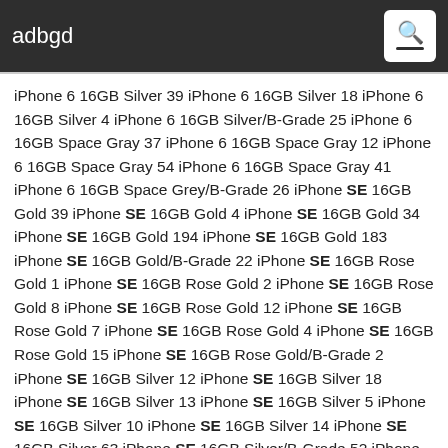adbgd
iPhone 6 16GB Silver 39 iPhone 6 16GB Silver 18 iPhone 6 16GB Silver 4 iPhone 6 16GB Silver/B-Grade 25 iPhone 6 16GB Space Gray 37 iPhone 6 16GB Space Gray 12 iPhone 6 16GB Space Gray 54 iPhone 6 16GB Space Gray 41 iPhone 6 16GB Space Grey/B-Grade 26 iPhone SE 16GB Gold 39 iPhone SE 16GB Gold 4 iPhone SE 16GB Gold 34 iPhone SE 16GB Gold 194 iPhone SE 16GB Gold 183 iPhone SE 16GB Gold/B-Grade 22 iPhone SE 16GB Rose Gold 1 iPhone SE 16GB Rose Gold 2 iPhone SE 16GB Rose Gold 8 iPhone SE 16GB Rose Gold 12 iPhone SE 16GB Rose Gold 7 iPhone SE 16GB Rose Gold 4 iPhone SE 16GB Rose Gold 15 iPhone SE 16GB Rose Gold/B-Grade 2 iPhone SE 16GB Silver 12 iPhone SE 16GB Silver 18 iPhone SE 16GB Silver 13 iPhone SE 16GB Silver 5 iPhone SE 16GB Silver 10 iPhone SE 16GB Silver 14 iPhone SE 16GB Silver 63 iPhone SE 16GB Silver/B-Grade 52 iPhone SE 16GB Space Gray 31 iPhone SE 16GB Space Gray 23 iPhone SE 16GB Space Gray 5 iPhone SE 16GB Space Gray 1 iPhone SE 16GB Space Grey 3 iPhone SE 16GB Space Grey 25 iPhone SE 16GB Space Grey 4 iPhone SE 16GB Space Grey/B-Grade 6 Доставка за цяла България: София, Пловдив, Бургас, Варна